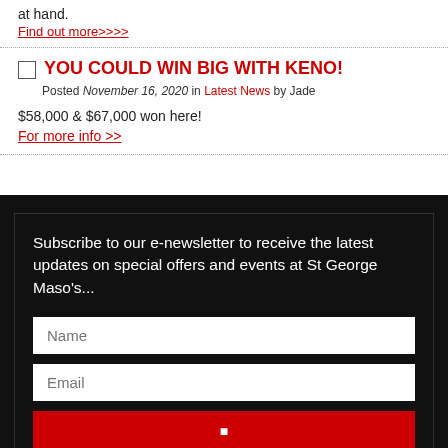at hand.
Find out more>>>>
YOU COULD WIN BIG WITH KENO!
Posted November 16, 2020 in Latest News by Jade
$58,000 & $67,000 won here!
For more info >>
Subscribe to our e-newsletter to receive the latest updates on special offers and events at St George Maso's...